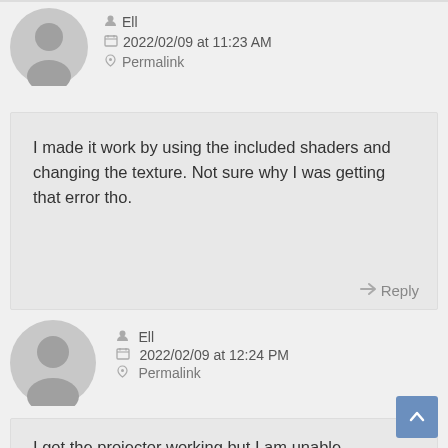Ell
2022/02/09 at 11:23 AM
Permalink
I made it work by using the included shaders and changing the texture. Not sure why I was getting that error tho.
Reply
Ell
2022/02/09 at 12:24 PM
Permalink
I got the projector working but I am unable